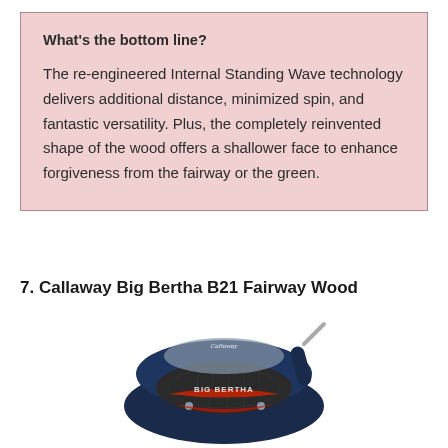What's the bottom line?
The re-engineered Internal Standing Wave technology delivers additional distance, minimized spin, and fantastic versatility. Plus, the completely reinvented shape of the wood offers a shallower face to enhance forgiveness from the fairway or the green.
7. Callaway Big Bertha B21 Fairway Wood
[Figure (photo): Callaway Big Bertha B21 Fairway Wood golf club head, dark blue and silver with red accents, showing the face and top of the club head from an angle.]